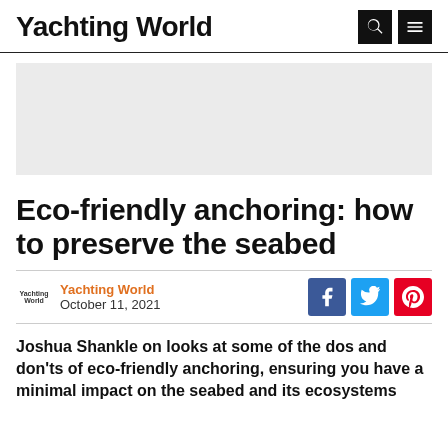Yachting World
[Figure (other): Gray advertisement banner placeholder]
Eco-friendly anchoring: how to preserve the seabed
Yachting World  October 11, 2021
Joshua Shankle on looks at some of the dos and don'ts of eco-friendly anchoring, ensuring you have a minimal impact on the seabed and its ecosystems